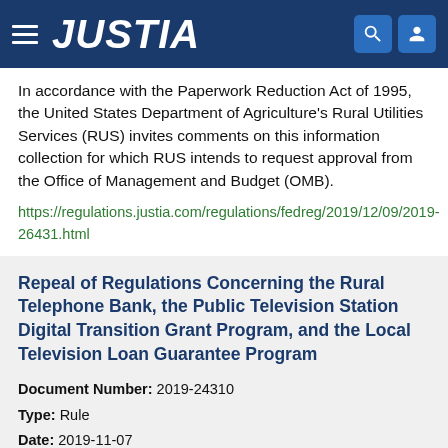JUSTIA
In accordance with the Paperwork Reduction Act of 1995, the United States Department of Agriculture's Rural Utilities Services (RUS) invites comments on this information collection for which RUS intends to request approval from the Office of Management and Budget (OMB).
https://regulations.justia.com/regulations/fedreg/2019/12/09/2019-26431.html
Repeal of Regulations Concerning the Rural Telephone Bank, the Public Television Station Digital Transition Grant Program, and the Local Television Loan Guarantee Program
Document Number: 2019-24310
Type: Rule
Date: 2019-11-07